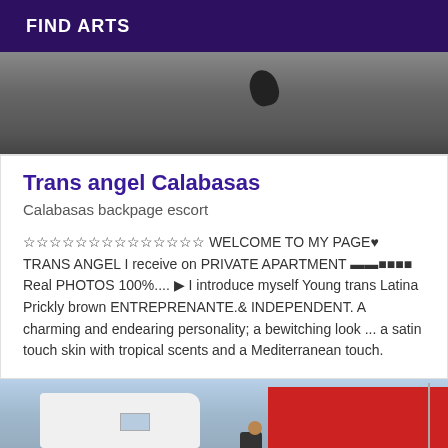FIND ARTS
[Figure (photo): Close-up photo of a dark surface, appears to show a scooter or bicycle part in the lower right]
Trans angel Calabasas
Calabasas backpage escort
☆☆☆☆☆☆☆☆☆☆☆☆☆☆ WELCOME TO MY PAGE♥ TRANS ANGEL I receive on PRIVATE APARTMENT ▬▬■■■■ Real PHOTOS 100%.... ▶ I introduce myself Young trans Latina Prickly brown ENTREPRENANTE.& INDEPENDENT. A charming and endearing personality; a bewitching look ... a satin touch skin with tropical scents and a Mediterranean touch.
[Figure (photo): Outdoor scene with a white camper truck, red commercial building, cars in parking lot, a person walking, and a transmission tower in the background]